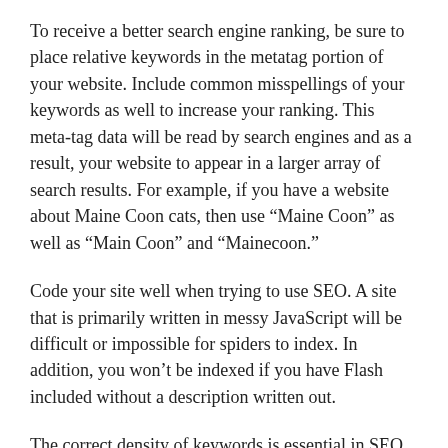To receive a better search engine ranking, be sure to place relative keywords in the metatag portion of your website. Include common misspellings of your keywords as well to increase your ranking. This meta-tag data will be read by search engines and as a result, your website to appear in a larger array of search results. For example, if you have a website about Maine Coon cats, then use “Maine Coon” as well as “Main Coon” and “Mainecoon.”
Code your site well when trying to use SEO. A site that is primarily written in messy JavaScript will be difficult or impossible for spiders to index. In addition, you won’t be indexed if you have Flash included without a description written out.
The correct density of keywords is essential in SEO work. Do not include more than 20 percent of keywords on your page.
Advertising is sometimes a good choice, but do not count on it to improve your SEO. It can help get traffic to your page, though,